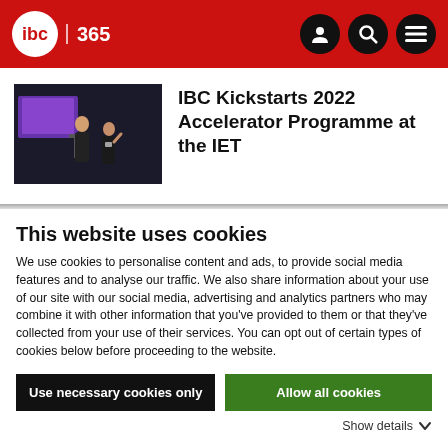IBC 365
[Figure (photo): Two people presenting at an event with a purple screen in background]
IBC Kickstarts 2022 Accelerator Programme at the IET
This website uses cookies
We use cookies to personalise content and ads, to provide social media features and to analyse our traffic. We also share information about your use of our site with our social media, advertising and analytics partners who may combine it with other information that you've provided to them or that they've collected from your use of their services. You can opt out of certain types of cookies below before proceeding to the website.
Use necessary cookies only | Allow all cookies
Show details